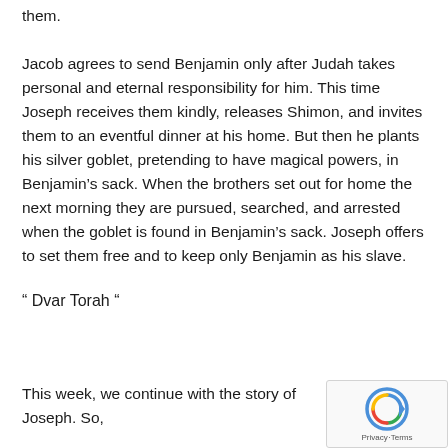them. Jacob agrees to send Benjamin only after Judah takes personal and eternal responsibility for him. This time Joseph receives them kindly, releases Shimon, and invites them to an eventful dinner at his home. But then he plants his silver goblet, pretending to have magical powers, in Benjamin's sack. When the brothers set out for home the next morning they are pursued, searched, and arrested when the goblet is found in Benjamin's sack. Joseph offers to set them free and to keep only Benjamin as his slave.
“ Dvar Torah “
This week, we continue with the story of Joseph. So,